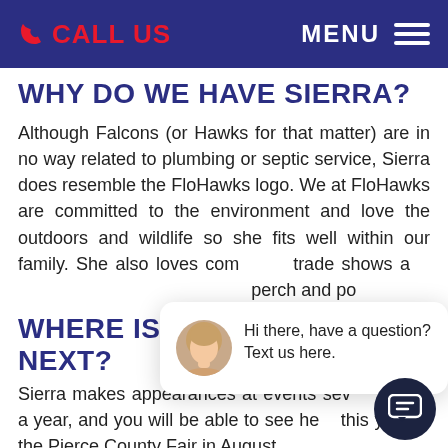CALL US   MENU
WHY DO WE HAVE SIERRA?
Although Falcons (or Hawks for that matter) are in no way related to plumbing or septic service, Sierra does resemble the FloHawks logo. We at FloHawks are committed to the environment and love the outdoors and wildlife so she fits well within our family. She also loves coming to trade shows and events and likes to sit on her perch and pose.
WHERE IS SIERRA NEXT?
Sierra makes appearances at events several times a year, and you will be able to see here this year at the Pierce County Fair in August.
[Figure (other): Chat popup with female avatar and message: Hi there, have a question? Text us here. With close button and chat bubble icon button.]